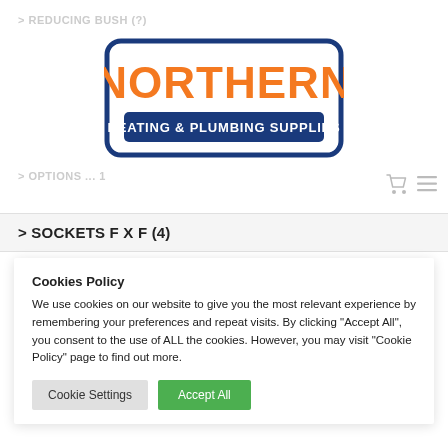> REDUCING BUSH (?)
[Figure (logo): Northern Heating & Plumbing Supplies logo — orange bold NORTHERN text inside a navy blue rounded rectangle border, with 'HEATING & PLUMBING SUPPLIES' in white text on a navy blue banner at the bottom]
> OPTIONS ... 1
> SOCKETS F X F (4)
Cookies Policy
We use cookies on our website to give you the most relevant experience by remembering your preferences and repeat visits. By clicking "Accept All", you consent to the use of ALL the cookies. However, you may visit "Cookie Policy" page to find out more.
Cookie Settings | Accept All